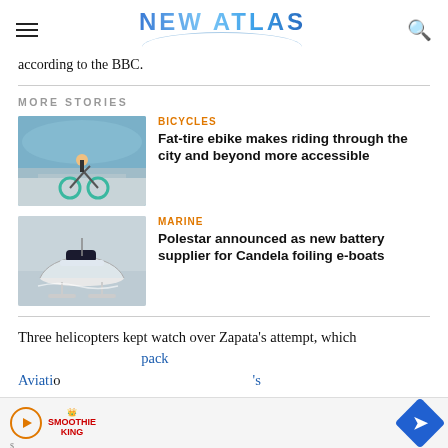NEW ATLAS
according to the BBC.
MORE STORIES
[Figure (photo): Person riding a fat-tire teal e-bike on a boardwalk or pier, sunny day]
BICYCLES
Fat-tire ebike makes riding through the city and beyond more accessible
[Figure (photo): A white motorboat foiling above the water surface on open water]
MARINE
Polestar announced as new battery supplier for Candela foiling e-boats
Three helicopters kept watch over Zapata's attempt, which                                                                        pack Aviation                                                                  's